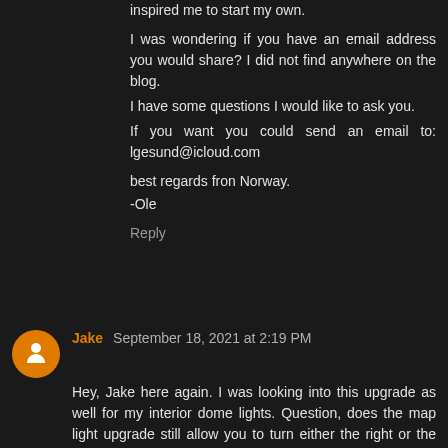inspired me to start my own.

I was wondering if you have an email address you would share? I did not find anywhere on the blog.
I have some questions I would like to ask you.
If you want you could send an email to: lgesund@icloud.com

best regards fron Norway.
-Ole
Reply
Jake September 18, 2021 at 2:19 PM
Hey, Jake here again. I was looking into this upgrade as well for my interior dome lights. Question, does the map light upgrade still allow you to turn either the right or the left map light on? Do you get two in the package you are showing? Thanks again!
Reply